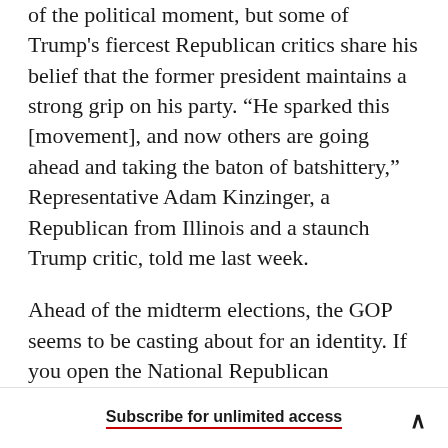of the political moment, but some of Trump's fiercest Republican critics share his belief that the former president maintains a strong grip on his party. “He sparked this [movement], and now others are going ahead and taking the baton of batshittery,” Representative Adam Kinzinger, a Republican from Illinois and a staunch Trump critic, told me last week.
Ahead of the midterm elections, the GOP seems to be casting about for an identity. If you open the National Republican Senatorial Committee website, you’ll see a slew of Trump-themed merch:
Subscribe for unlimited access